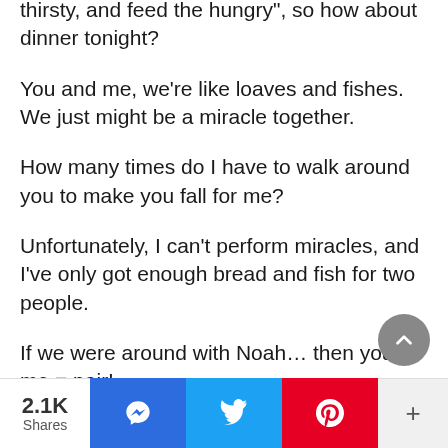thirsty, and feed the hungry", so how about dinner tonight?
You and me, we’re like loaves and fishes. We just might be a miracle together.
How many times do I have to walk around you to make you fall for me?
Unfortunately, I can’t perform miracles, and I’ve only got enough bread and fish for two people.
If we were around with Noah… then you + me = pair!
2.1K Shares | Facebook Messenger | Twitter | Pinterest | More